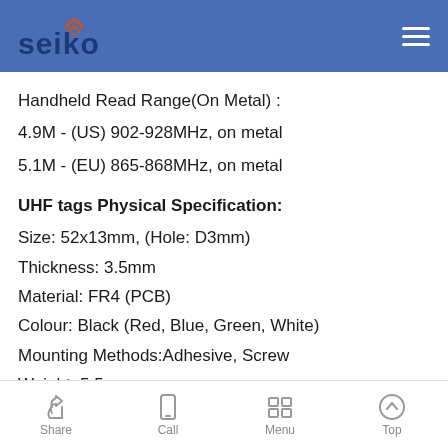Seiko — navigation header with logo and menu
Handheld Read Range(On Metal) :
4.9M - (US) 902-928MHz, on metal
5.1M - (EU) 865-868MHz, on metal
UHF tags Physical Specification:
Size: 52x13mm, (Hole: D3mm)
Thickness: 3.5mm
Material: FR4 (PCB)
Colour: Black (Red, Blue, Green, White)
Mounting Methods:Adhesive, Screw
Weight: 5.5g
Share   Call   Menu   Top